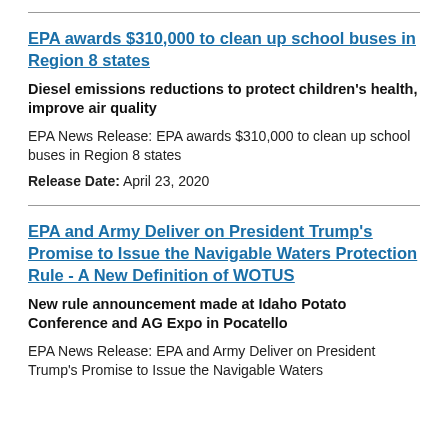EPA awards $310,000 to clean up school buses in Region 8 states
Diesel emissions reductions to protect children's health, improve air quality
EPA News Release: EPA awards $310,000 to clean up school buses in Region 8 states
Release Date: April 23, 2020
EPA and Army Deliver on President Trump's Promise to Issue the Navigable Waters Protection Rule - A New Definition of WOTUS
New rule announcement made at Idaho Potato Conference and AG Expo in Pocatello
EPA News Release: EPA and Army Deliver on President Trump&#039;s Promise to Issue the Navigable Waters